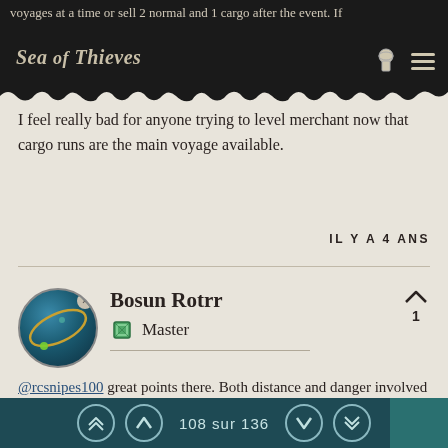Sea of Thieves
voyages at a time or sell 2 normal and 1 cargo after the event. If joining a merchant mission now you cant reroll for holds often.
I feel really bad for anyone trying to level merchant now that cargo runs are the main voyage available.
IL Y A 4 ANS
Bosun Rotrr — Master
@rcsnipes100 great points there. Both distance and danger involved should adjust price. The further the distance, the more risk to transport.
108 sur 136